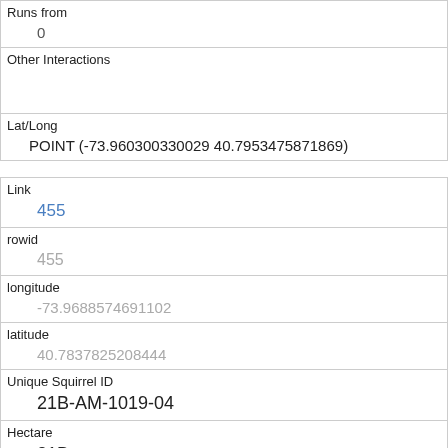| Runs from | 0 |
| Other Interactions |  |
| Lat/Long | POINT (-73.960300330029 40.7953475871869) |
| Link | 455 |
| rowid | 455 |
| longitude | -73.9688574691102 |
| latitude | 40.7837825208444 |
| Unique Squirrel ID | 21B-AM-1019-04 |
| Hectare | 21B |
| Shift | AM |